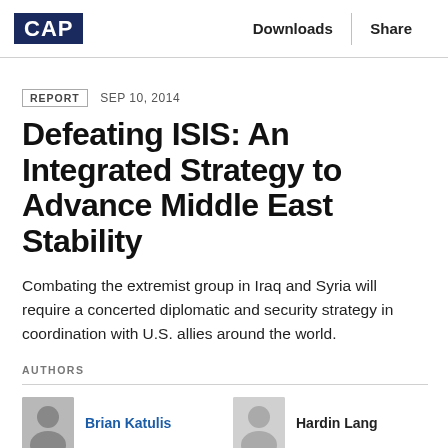CAP | Downloads | Share
REPORT   SEP 10, 2014
Defeating ISIS: An Integrated Strategy to Advance Middle East Stability
Combating the extremist group in Iraq and Syria will require a concerted diplomatic and security strategy in coordination with U.S. allies around the world.
AUTHORS
Brian Katulis
Hardin Lang